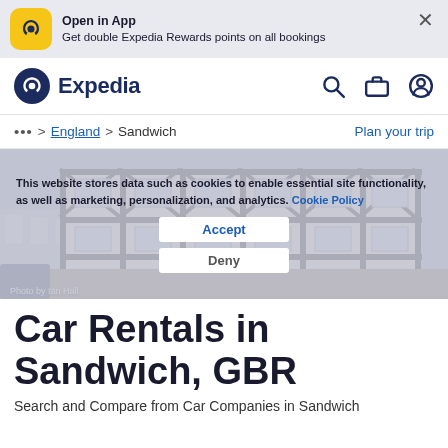[Figure (screenshot): Expedia app banner with yellow app icon, text 'Open in App - Get double Expedia Rewards points on all bookings', and X close button on light blue/grey background]
[Figure (logo): Expedia navigation bar with dark blue circle logo, 'Expedia' text, search icon, briefcase/trips icon, and user account icon]
... > England > Sandwich    Plan your trip
[Figure (photo): Photo of a Tudor-style black and white timber-framed building in Sandwich, England. Photo by Ian Hall.]
This website stores data such as cookies to enable essential site functionality, as well as marketing, personalization, and analytics. Cookie Policy
Accept
Deny
Car Rentals in Sandwich, GBR
Search and Compare from Car Companies in Sandwich